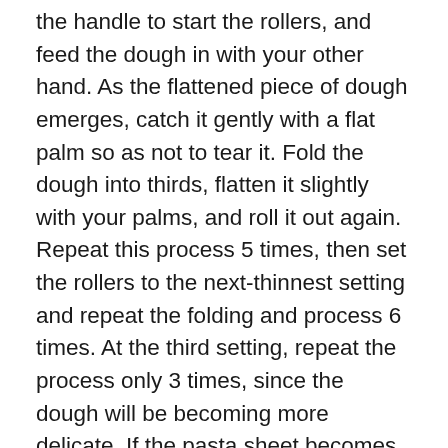the handle to start the rollers, and feed the dough in with your other hand. As the flattened piece of dough emerges, catch it gently with a flat palm so as not to tear it. Fold the dough into thirds, flatten it slightly with your palms, and roll it out again. Repeat this process 5 times, then set the rollers to the next-thinnest setting and repeat the folding and process 6 times. At the third setting, repeat the process only 3 times, since the dough will be becoming more delicate. If the pasta sheet becomes too long to work with easily, cut it into 2 pieces and continue. As you work, dust the pasta sheet with a tiny pinch of flour only if it seems to be sticking – too much flour will dry out the dough. Roll the dough out through the progressively thinner settings, without folding it again, until you have reached the the thinnest that you desire (we went to the 4 setting on our pasta machine, you don't want it to be too